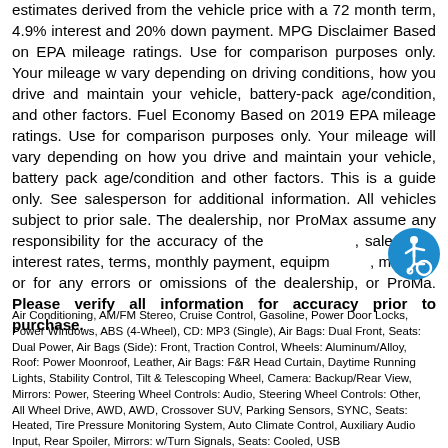estimates derived from the vehicle price with a 72 month term, 4.9% interest and 20% down payment. MPG Disclaimer Based on EPA mileage ratings. Use for comparison purposes only. Your mileage will vary depending on driving conditions, how you drive and maintain your vehicle, battery-pack age/condition, and other factors. Fuel Economy Based on 2019 EPA mileage ratings. Use for comparison purposes only. Your mileage will vary depending on how you drive and maintain your vehicle, battery pack age/condition and other factors. This is a guide only. See salesperson for additional information. All vehicles subject to prior sale. The dealership, nor ProMax assume any responsibility for the accuracy of the, sale price, interest rates, terms, monthly payment, equipment, mileage, or for any errors or omissions of the dealership, or ProMax. Please verify all information for accuracy prior to purchase.
[Figure (illustration): Blue circular accessibility icon showing a person in a wheelchair]
Air Conditioning, AM/FM Stereo, Cruise Control, Gasoline, Power Door Locks, Power Windows, ABS (4-Wheel), CD: MP3 (Single), Air Bags: Dual Front, Seats: Dual Power, Air Bags (Side): Front, Traction Control, Wheels: Aluminum/Alloy, Roof: Power Moonroof, Leather, Air Bags: F&R Head Curtain, Daytime Running Lights, Stability Control, Tilt & Telescoping Wheel, Camera: Backup/Rear View, Mirrors: Power, Steering Wheel Controls: Audio, Steering Wheel Controls: Other, All Wheel Drive, AWD, AWD, Crossover SUV, Parking Sensors, SYNC, Seats: Heated, Tire Pressure Monitoring System, Auto Climate Control, Auxiliary Audio Input, Rear Spoiler, Mirrors: w/Turn Signals, Seats: Cooled, USB